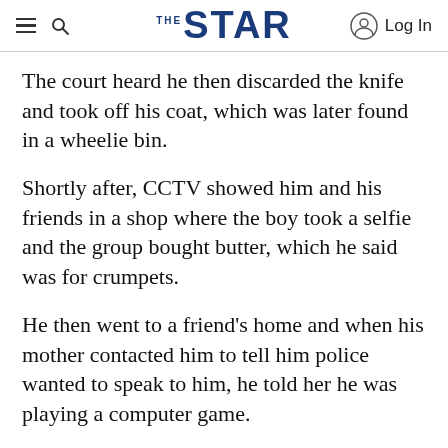THE STAR — Log In
The court heard he then discarded the knife and took off his coat, which was later found in a wheelie bin.
Shortly after, CCTV showed him and his friends in a shop where the boy took a selfie and the group bought butter, which he said was for crumpets.
He then went to a friend's home and when his mother contacted him to tell him police wanted to speak to him, he told her he was playing a computer game.
The youth was arrested at about 22:30 GMT, a few hours after the stabbing and initially told his